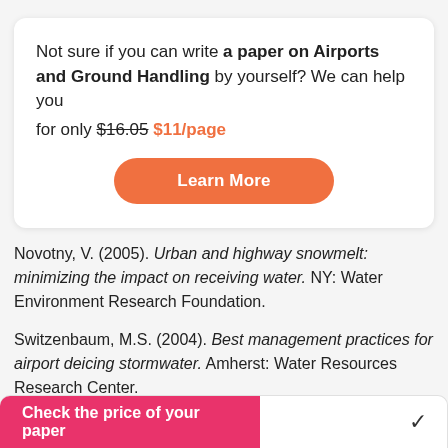Not sure if you can write a paper on Airports and Ground Handling by yourself? We can help you for only $16.05 $11/page
Learn More
Novotny, V. (2005). Urban and highway snowmelt: minimizing the impact on receiving water. NY: Water Environment Research Foundation.
Switzenbaum, M.S. (2004). Best management practices for airport deicing stormwater. Amherst: Water Resources Research Center.
Check the price of your paper